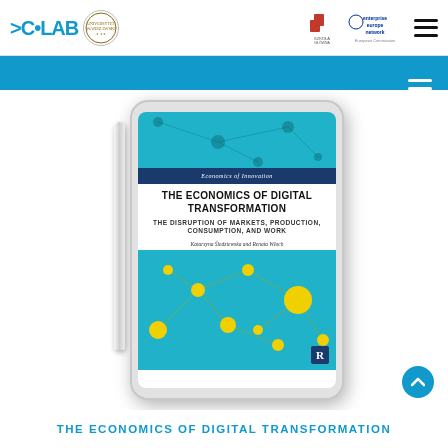DELAB | University of Warsaw | Szkola Glowna Handlowa | Enterprise Europe Network
[Figure (illustration): Book cover of 'The Economics of Digital Transformation' displayed on a tablet with stylus, showing teal network diagram design, published by Routledge, authored by Katarzyna Sledziewska and Renata Wloch]
THE ECONOMICS OF DIGITAL TRANSFORMATION